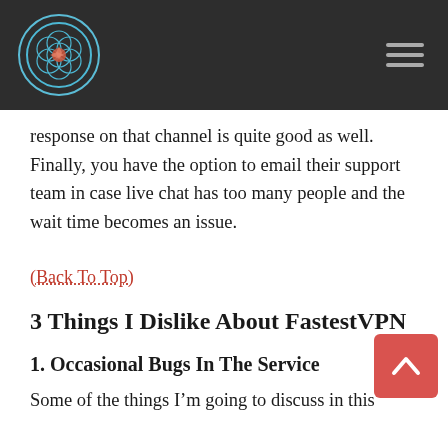response on that channel is quite good as well. Finally, you have the option to email their support team in case live chat has too many people and the wait time becomes an issue.
(Back To Top)
3 Things I Dislike About FastestVPN
1. Occasional Bugs In The Service
Some of the things I’m going to discuss in this